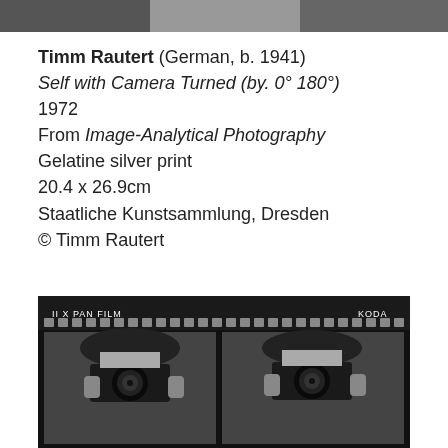[Figure (photo): Partial black-and-white photograph visible at the top edge of the page]
Timm Rautert (German, b. 1941)
Self with Camera Turned (by. 0° 180°)
1972
From Image-Analytical Photography
Gelatine silver print
20.4 x 26.9cm
Staatliche Kunstsammlung, Dresden
© Timm Rautert
[Figure (photo): Black-and-white contact sheet showing two frames of a person holding a camera up to their face, on Kodak XX Pan Film]